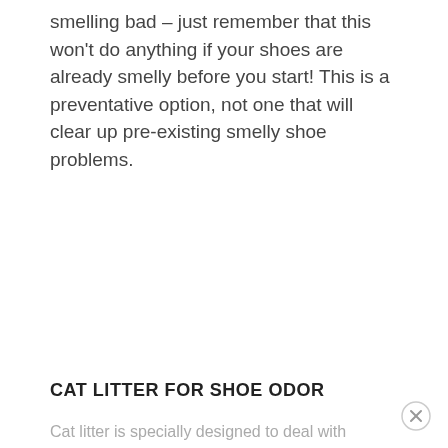smelling bad – just remember that this won't do anything if your shoes are already smelly before you start! This is a preventative option, not one that will clear up pre-existing smelly shoe problems.
CAT LITTER FOR SHOE ODOR
Cat litter is specially designed to deal with the moisture